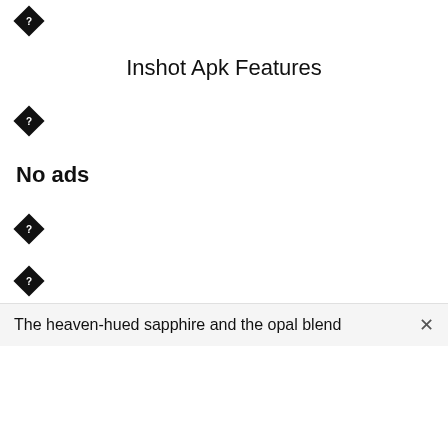◆
Inshot Apk Features
◆
No ads
◆
◆
The heaven-hued sapphire and the opal blend